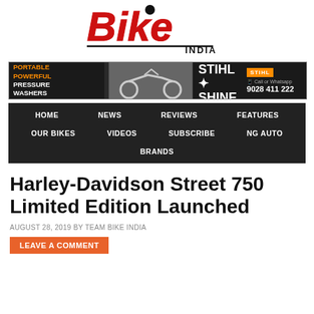[Figure (logo): Bike India magazine logo in red with black outline, INDIA text below]
[Figure (infographic): Advertisement banner: Portable Powerful Pressure Washers | motorcycle image | Get The STIHL Shine | Call or Whatsapp 9028 411 222]
HOME  NEWS  REVIEWS  FEATURES  OUR BIKES  VIDEOS  SUBSCRIBE  NG AUTO  BRANDS
Harley-Davidson Street 750 Limited Edition Launched
AUGUST 28, 2019 BY TEAM BIKE INDIA
LEAVE A COMMENT